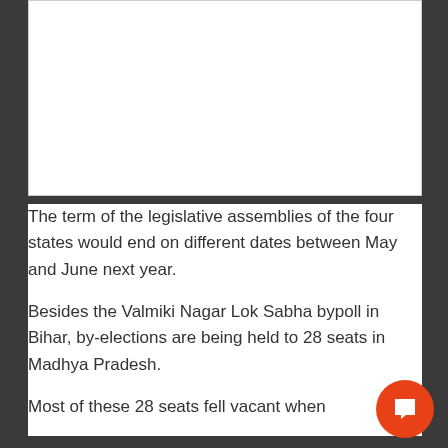[Figure (other): White rectangular image placeholder area at top of page]
The term of the legislative assemblies of the four states would end on different dates between May and June next year.
Besides the Valmiki Nagar Lok Sabha bypoll in Bihar, by-elections are being held to 28 seats in Madhya Pradesh.
Most of these 28 seats fell vacant when